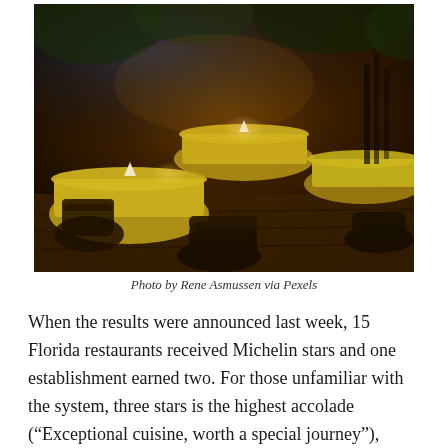[Figure (photo): Interior of an upscale restaurant at night with yellow/gold tablecloths, dark rattan chairs, candlelight, and lush foliage decor visible in the background. Warm amber lighting gives the room a cozy, elegant atmosphere. Wooden floor visible in the foreground.]
Photo by Rene Asmussen via Pexels
When the results were announced last week, 15 Florida restaurants received Michelin stars and one establishment earned two. For those unfamiliar with the system, three stars is the highest accolade (“Exceptional cuisine, worth a special journey”), followed by two (“Excellent cooking, worth a